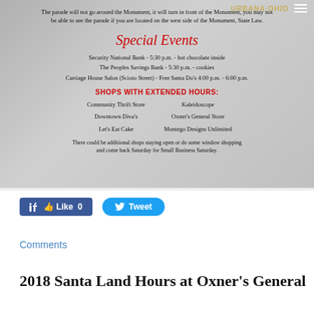[Figure (photo): Gray/silver snowy background with event information overlay for a Christmas parade in Urbana, Ohio]
The parade will not go around the Monument, it will turn in front of the Monument, you may not be able to see the parade if you are located on the west side of the Monument, State Law.
Special Events
Security National Bank - 5:30 p.m. - hot chocolate inside
The Peoples Savings Bank - 5:30 p.m. - cookies
Carriage House Salon (Scioto Street) - Free Santa Do's 4:00 p.m. - 6:00 p.m.
SHOPS WITH EXTENDED HOURS:
Community Thrift Store
Kaleidoscope
Downtown Diva's
Oxner's General Store
Let's Eat Cake
Montego Designs Unlimited
There could be additional shops staying open or do some window shopping and come back Saturday for Small Business Saturday.
[Figure (screenshot): Facebook Like button showing Like 0]
[Figure (screenshot): Twitter Tweet button]
Comments
2018 Santa Land Hours at Oxner's General